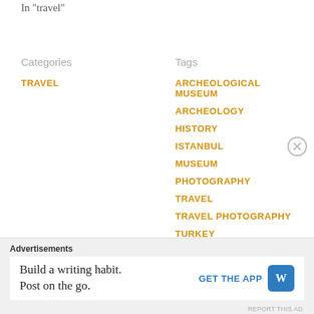In "travel"
Categories
TRAVEL
Tags
ARCHEOLOGICAL MUSEUM
ARCHEOLOGY
HISTORY
ISTANBUL
MUSEUM
PHOTOGRAPHY
TRAVEL
TRAVEL PHOTOGRAPHY
TURKEY
TURKISH HISTORY
Advertisements
Build a writing habit.
Post on the go.
GET THE APP
REPORT THIS AD